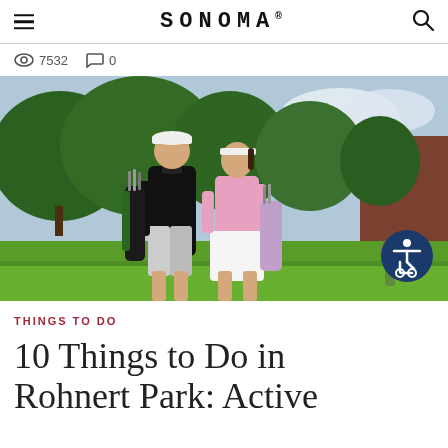SONOMA®
7532  0
[Figure (photo): Two golfers, a man in a black polo and plaid shorts and a woman in a pink polo and white skirt, walking on a golf course carrying golf bags. Lush green trees in background.]
THINGS TO DO
10 Things to Do in Rohnert Park: Active